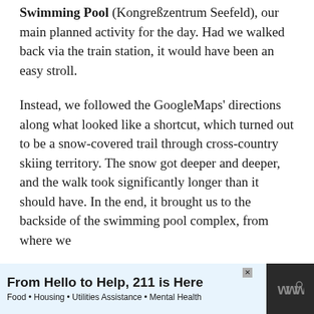Swimming Pool (Kongreßzentrum Seefeld), our main planned activity for the day. Had we walked back via the train station, it would have been an easy stroll.
Instead, we followed the GoogleMaps' directions along what looked like a shortcut, which turned out to be a snow-covered trail through cross-country skiing territory. The snow got deeper and deeper, and the walk took significantly longer than it should have. In the end, it brought us to the backside of the swimming pool complex, from where we
[Figure (other): Advertisement banner at bottom of page: dark background with advertisement for '211' service. Text reads 'From Hello to Help, 211 is Here' with subtitle 'Food • Housing • Utilities Assistance • Mental Health'. Logo with three 'w' marks on right.]